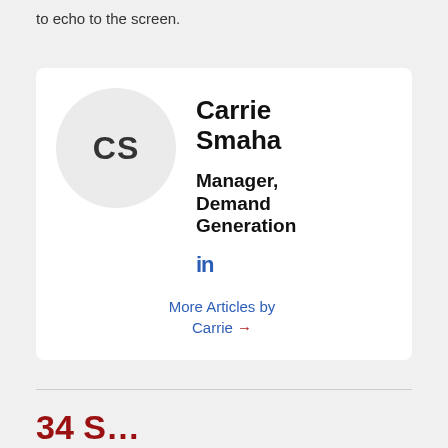to echo to the screen.
[Figure (infographic): Author card for Carrie Smaha with avatar initials CS, title Manager, Demand Generation, LinkedIn icon, and More Articles by Carrie link with arrow]
34 S...